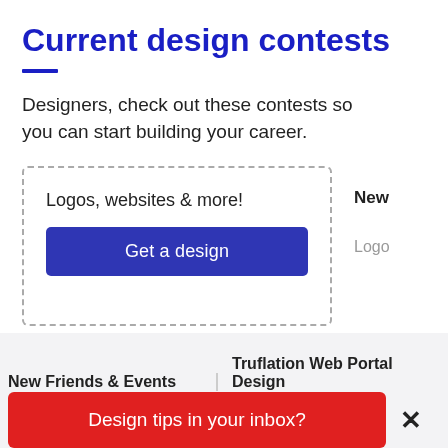Current design contests
Designers, check out these contests so you can start building your career.
[Figure (screenshot): A dashed-border card showing 'Logos, websites & more!' with a blue 'Get a design' button, and a partially visible card to the right showing 'New' and 'Logo']
New Friends & Events
Truflation Web Portal Design
Design tips in your inbox?